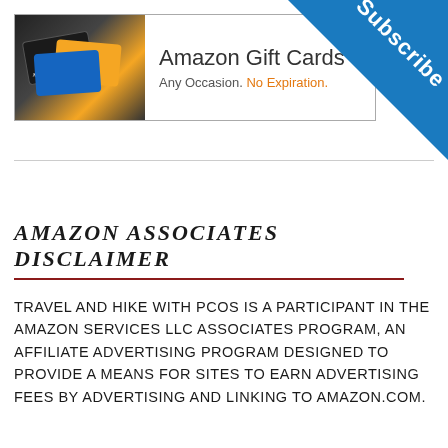[Figure (illustration): Amazon Gift Cards advertisement banner with card images on left and text 'Amazon Gift Cards / Any Occasion. No Expiration.' on right]
[Figure (illustration): Blue triangular 'Subscribe' banner in top-right corner]
AMAZON ASSOCIATES DISCLAIMER
TRAVEL AND HIKE WITH PCOS IS A PARTICIPANT IN THE AMAZON SERVICES LLC ASSOCIATES PROGRAM, AN AFFILIATE ADVERTISING PROGRAM DESIGNED TO PROVIDE A MEANS FOR SITES TO EARN ADVERTISING FEES BY ADVERTISING AND LINKING TO AMAZON.COM.